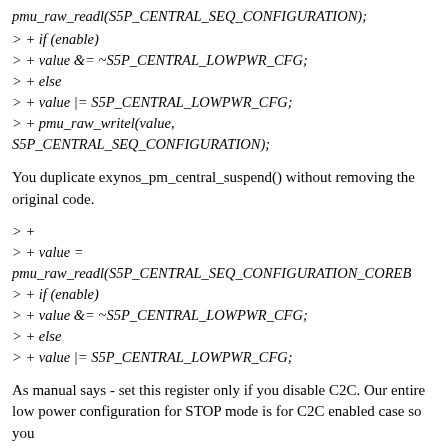pmu_raw_readl(S5P_CENTRAL_SEQ_CONFIGURATION);
> + if (enable)
> + value &= ~S5P_CENTRAL_LOWPWR_CFG;
> + else
> + value |= S5P_CENTRAL_LOWPWR_CFG;
> + pmu_raw_writel(value,
S5P_CENTRAL_SEQ_CONFIGURATION);
You duplicate exynos_pm_central_suspend() without removing the original code.
> +
> + value =
pmu_raw_readl(S5P_CENTRAL_SEQ_CONFIGURATION_COREB
> + if (enable)
> + value &= ~S5P_CENTRAL_LOWPWR_CFG;
> + else
> + value |= S5P_CENTRAL_LOWPWR_CFG;
As manual says - set this register only if you disable C2C. Our entire
low power configuration for STOP mode is for C2C enabled case so you
add inconsistent configuration.